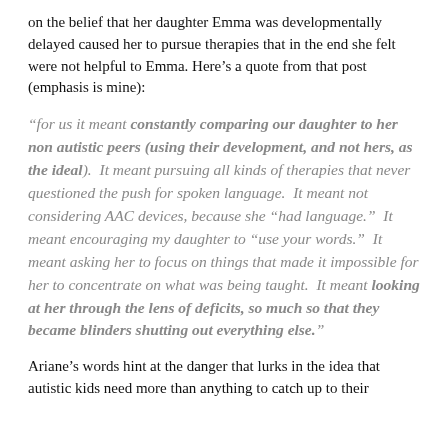on the belief that her daughter Emma was developmentally delayed caused her to pursue therapies that in the end she felt were not helpful to Emma. Here's a quote from that post (emphasis is mine):
“for us it meant constantly comparing our daughter to her non autistic peers (using their development, and not hers, as the ideal).  It meant pursuing all kinds of therapies that never questioned the push for spoken language.  It meant not considering AAC devices, because she “had language.”  It meant encouraging my daughter to “use your words.”  It meant asking her to focus on things that made it impossible for her to concentrate on what was being taught.  It meant looking at her through the lens of deficits, so much so that they became blinders shutting out everything else.”
Ariane’s words hint at the danger that lurks in the idea that autistic kids need more than anything to catch up to their